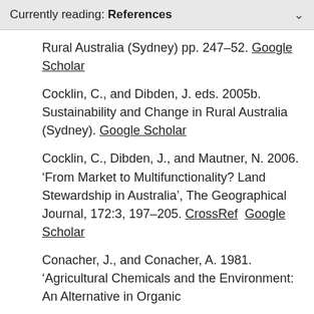Currently reading: References
Rural Australia (Sydney) pp. 247–52. Google Scholar
Cocklin, C., and Dibden, J. eds. 2005b. Sustainability and Change in Rural Australia (Sydney). Google Scholar
Cocklin, C., Dibden, J., and Mautner, N. 2006. ‘From Market to Multifunctionality? Land Stewardship in Australia’, The Geographical Journal, 172:3, 197–205. CrossRef  Google Scholar
Conacher, J., and Conacher, A. 1981. ‘Agricultural Chemicals and the Environment: An Alternative in Organic